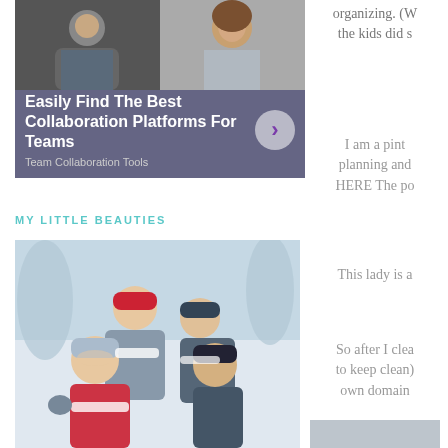[Figure (screenshot): Advertisement for collaboration platforms showing two people on video call above a dark overlay with bold white text 'Easily Find The Best Collaboration Platforms For Teams' and subtitle 'Team Collaboration Tools' with a circular arrow button]
MY LITTLE BEAUTIES
[Figure (photo): Four children wearing winter hats and coats posing outdoors in snowy setting, smiling at camera]
organizing. (W the kids did s
I am a pint planning and HERE The po
This lady is a
So after I clea to keep clean) own domain